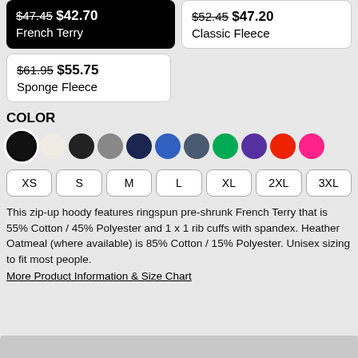$47.45 $42.70 French Terry
$52.45 $47.20 Classic Fleece
$61.95 $55.75 Sponge Fleece
COLOR
[Figure (other): Color swatches: black (selected), cream, dark gray, gray, navy, blue, slate, green, purple, red, pink]
[Figure (other): Size selector buttons: XS, S, M, L, XL, 2XL, 3XL]
This zip-up hoody features ringspun pre-shrunk French Terry that is 55% Cotton / 45% Polyester and 1 x 1 rib cuffs with spandex. Heather Oatmeal (where available) is 85% Cotton / 15% Polyester. Unisex sizing to fit most people.
More Product Information & Size Chart